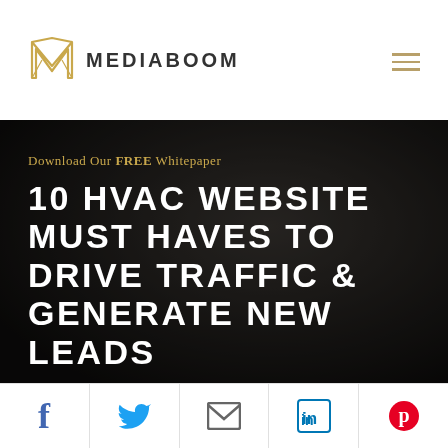MEDIABOOM
[Figure (illustration): Dark background hero image with golden text 'Download Our FREE Whitepaper' and large white bold uppercase text '10 HVAC WEBSITE MUST HAVES TO DRIVE TRAFFIC & GENERATE NEW LEADS']
[Figure (infographic): Social share bar at the bottom with Facebook, Twitter, Email, LinkedIn, and Pinterest icons]